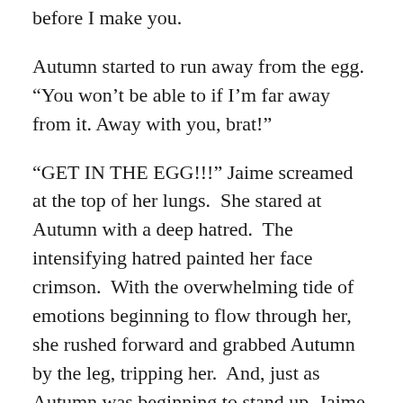before I make you.
Autumn started to run away from the egg. “You won’t be able to if I’m far away from it. Away with you, brat!”
“GET IN THE EGG!!!” Jaime screamed at the top of her lungs.  She stared at Autumn with a deep hatred.  The intensifying hatred painted her face crimson.  With the overwhelming tide of emotions beginning to flow through her, she rushed forward and grabbed Autumn by the leg, tripping her.  And, just as Autumn was beginning to stand up, Jaime forcefully shoved her forward, which was enough to send her tumbling forward.  Autumn tumbled into the egg, which sent ripples of light that formed up